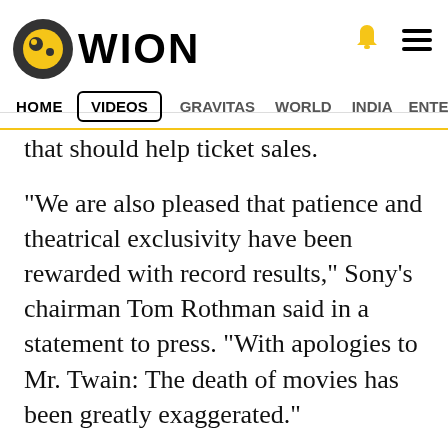WION
HOME VIDEOS GRAVITAS WORLD INDIA ENTERTAINMENT SPORTS
that should help ticket sales.
"We are also pleased that patience and theatrical exclusivity have been rewarded with record results," Sony's chairman Tom Rothman said in a statement to press. "With apologies to Mr. Twain: The death of movies has been greatly exaggerated."
The supervillain sequel, starring Tom H[...] s the otherworldly lethal protector, blew p[...] the pandemic-era benchmark set last July by 'Black